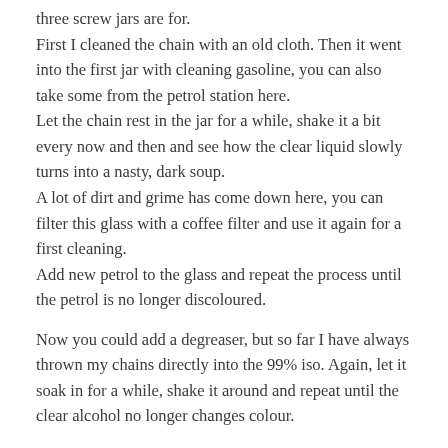three screw jars are for.
First I cleaned the chain with an old cloth. Then it went into the first jar with cleaning gasoline, you can also take some from the petrol station here.
Let the chain rest in the jar for a while, shake it a bit every now and then and see how the clear liquid slowly turns into a nasty, dark soup.
A lot of dirt and grime has come down here, you can filter this glass with a coffee filter and use it again for a first cleaning.
Add new petrol to the glass and repeat the process until the petrol is no longer discoloured.
Now you could add a degreaser, but so far I have always thrown my chains directly into the 99% iso. Again, let it soak in for a while, shake it around and repeat until the clear alcohol no longer changes colour.